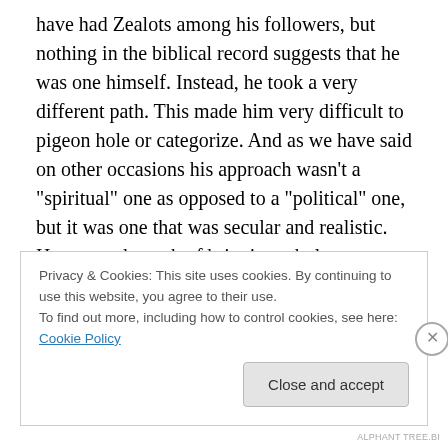have had Zealots among his followers, but nothing in the biblical record suggests that he was one himself. Instead, he took a very different path. This made him very difficult to pigeon hole or categorize. And as we have said on other occasions his approach wasn't a “spiritual” one as opposed to a “political” one, but it was one that was secular and realistic. He pursued a path of bringing wholeness at a people level to the neighbourhood, inaugurating the kingdom through his preaching and through his healing actions even if he knew that the forces gathering against him would not be happy. We talked
Privacy & Cookies: This site uses cookies. By continuing to use this website, you agree to their use.
To find out more, including how to control cookies, see here: Cookie Policy
Close and accept